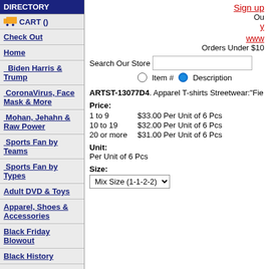DIRECTORY
CART ()
Check Out
Home
Biden Harris & Trump
CoronaVirus, Face Mask & More
Mohan, Jehahn & Raw Power
Sports Fan by Teams
Sports Fan by Types
Adult DVD & Toys
Apparel, Shoes & Accessories
Black Friday Blowout
Black History
Clearance Sale: 40% OFF
Contact Us
Sign up
Ou
y
www
Orders Under $10
Search Our Store
Item #   Description
ARTST-13077D4. Apparel T-shirts Streetwear:"Fie
Price:
1 to 9   $33.00 Per Unit of 6 Pcs
10 to 19   $32.00 Per Unit of 6 Pcs
20 or more   $31.00 Per Unit of 6 Pcs
Unit:
Per Unit of 6 Pcs
Size:
Mix Size (1-1-2-2)